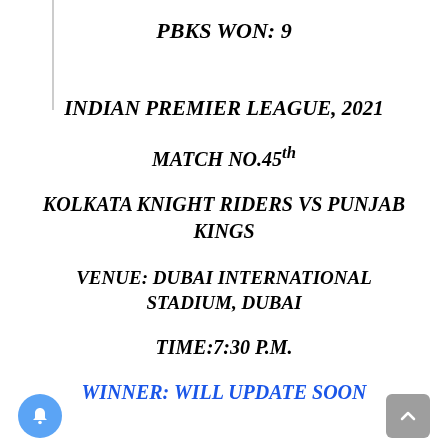PBKS WON: 9
INDIAN PREMIER LEAGUE, 2021
MATCH NO.45th
KOLKATA KNIGHT RIDERS VS PUNJAB KINGS
VENUE: DUBAI INTERNATIONAL STADIUM, DUBAI
TIME:7:30 P.M.
WINNER: WILL UPDATE SOON